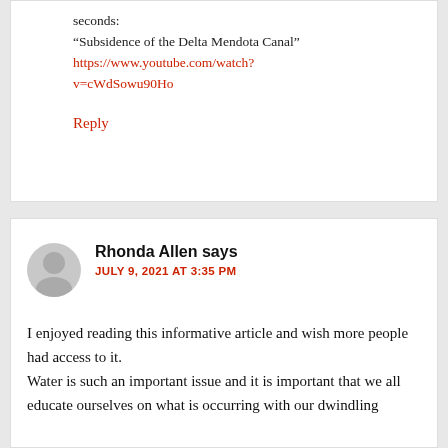seconds:
“Subsidence of the Delta Mendota Canal”
https://www.youtube.com/watch?v=cWdSowu90Ho
Reply
Rhonda Allen says
JULY 9, 2021 AT 3:35 PM
I enjoyed reading this informative article and wish more people had access to it.
Water is such an important issue and it is important that we all educate ourselves on what is occurring with our dwindling